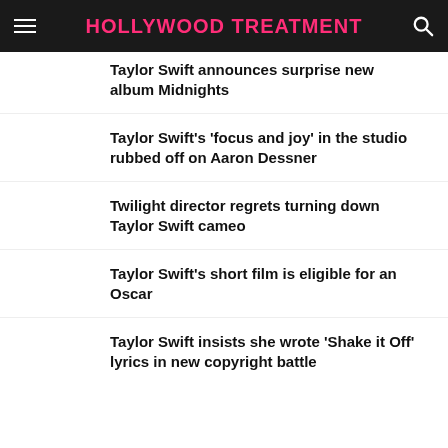HOLLYWOOD TREATMENT
Taylor Swift announces surprise new album Midnights
Taylor Swift's 'focus and joy' in the studio rubbed off on Aaron Dessner
Twilight director regrets turning down Taylor Swift cameo
Taylor Swift's short film is eligible for an Oscar
Taylor Swift insists she wrote 'Shake it Off' lyrics in new copyright battle